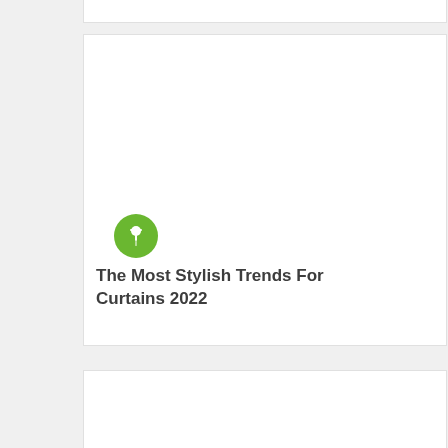[Figure (illustration): Top card fragment — white card with border, partially visible at top of page]
[Figure (illustration): Middle card — white card with border containing a green circular pin icon and article title text]
The Most Stylish Trends For Curtains 2022
[Figure (illustration): Bottom card fragment — white card with border, partially visible at bottom of page]